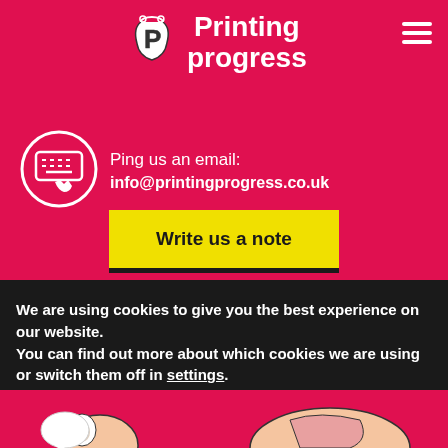[Figure (logo): Printing Progress logo with stylized P character icon and text 'Printing progress' in white on red background]
Ping us an email:
info@printingprogress.co.uk
Write us a note
We are using cookies to give you the best experience on our website.
You can find out more about which cookies we are using or switch them off in settings.
Accept